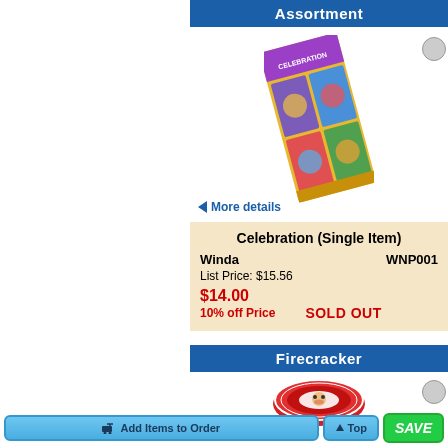Assortment
[Figure (photo): Fireworks assortment product box — colorful illustrated packaging tilted at an angle]
More details
Celebration (Single Item)
Winda   WNP001
List Price: $15.56
$14.00
10% off Price   SOLD OUT
Firecracker
[Figure (photo): Firecracker product — circular red tin/disc with bulldog logo]
Add Items to Order   Top   SAVE